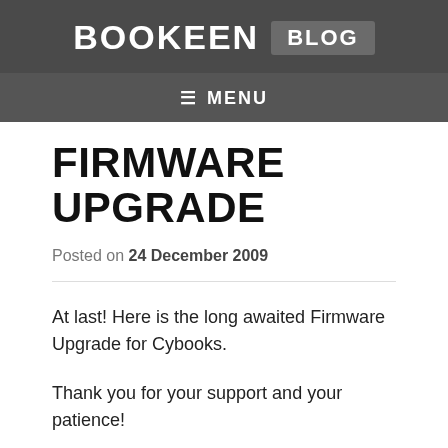BOOKEEN BLOG
≡ MENU
FIRMWARE UPGRADE
Posted on 24 December 2009
At last! Here is the long awaited Firmware Upgrade for Cybooks.
Thank you for your support and your patience!